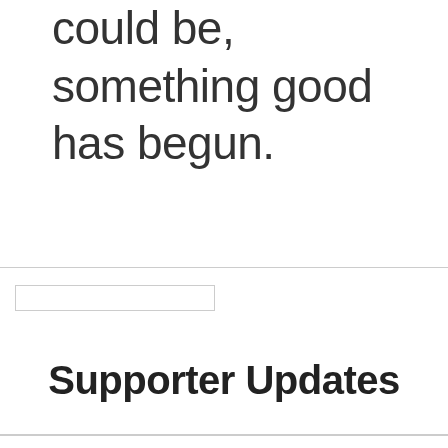could be, something good has begun.
Supporter Updates